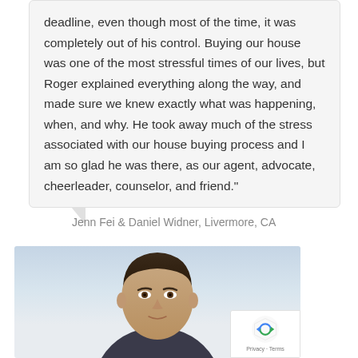deadline, even though most of the time, it was completely out of his control. Buying our house was one of the most stressful times of our lives, but Roger explained everything along the way, and made sure we knew exactly what was happening, when, and why. He took away much of the stress associated with our house buying process and I am so glad he was there, as our agent, advocate, cheerleader, counselor, and friend."
Jenn Fei & Daniel Widner, Livermore, CA
[Figure (photo): Headshot photo of a man with short dark hair against a light sky background]